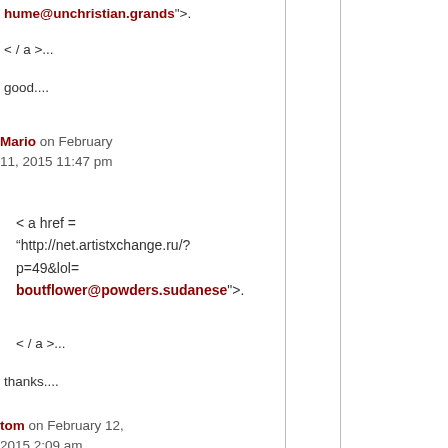hume@unchristian.grands">.
< / a >...
good....
Mario on February 11, 2015 11:47 pm
< a href =
“http://net.artistxchange.ru/?p=49&lol=
boutflower@powders.sudanese">.
< / a >...
thanks....
tom on February 12, 2015 2:09 am
< a href =
“http://gov.mp3pal.ru/?p=13&lol=
religiously@cinches.principle">.
< / a >...